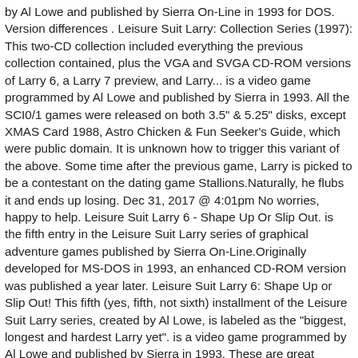by Al Lowe and published by Sierra On-Line in 1993 for DOS. Version differences . Leisure Suit Larry: Collection Series (1997): This two-CD collection included everything the previous collection contained, plus the VGA and SVGA CD-ROM versions of Larry 6, a Larry 7 preview, and Larry... is a video game programmed by Al Lowe and published by Sierra in 1993. All the SCI0/1 games were released on both 3.5" & 5.25" disks, except XMAS Card 1988, Astro Chicken & Fun Seeker's Guide, which were public domain. It is unknown how to trigger this variant of the above. Some time after the previous game, Larry is picked to be a contestant on the dating game Stallions.Naturally, he flubs it and ends up losing. Dec 31, 2017 @ 4:01pm No worries, happy to help. Leisure Suit Larry 6 - Shape Up Or Slip Out. is the fifth entry in the Leisure Suit Larry series of graphical adventure games published by Sierra On-Line.Originally developed for MS-DOS in 1993, an enhanced CD-ROM version was published a year later. Leisure Suit Larry 6: Shape Up or Slip Out! This fifth (yes, fifth, not sixth) installment of the Leisure Suit Larry series, created by Al Lowe, is labeled as the "biggest, longest and hardest Larry yet". is a video game programmed by Al Lowe and published by Sierra in 1993. These are great resources cheers! A limited edition print of the Leisure Suit Larry book was also included, titled "My Scrapbook".